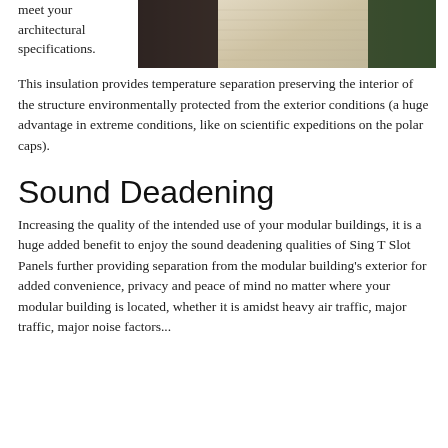meet your architectural specifications.
[Figure (photo): Close-up photo of a textured cream/white panel surface with blurred green background]
This insulation provides temperature separation preserving the interior of the structure environmentally protected from the exterior conditions (a huge advantage in extreme conditions, like on scientific expeditions on the polar caps).
Sound Deadening
Increasing the quality of the intended use of your modular buildings, it is a huge added benefit to enjoy the sound deadening qualities of Sing T Slot Panels further providing separation from the modular building's exterior for added convenience, privacy and peace of mind no matter where your modular building is located, whether it is amidst heavy air traffic, major traffic, major noise factors...